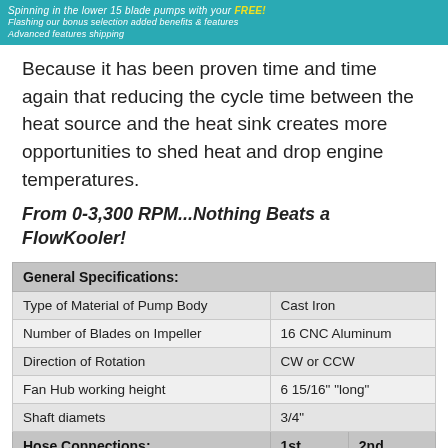Spinning in the lower 15 blade...with your FREE! Flashing our bonus selection added benefits. Advanced features shipping.
Because it has been proven time and time again that reducing the cycle time between the heat source and the heat sink creates more opportunities to shed heat and drop engine temperatures.
From 0-3,300 RPM...Nothing Beats a FlowKooler!
| General Specifications: |  |  |
| --- | --- | --- |
| Type of Material of Pump Body | Cast Iron |  |
| Number of Blades on Impeller | 16 CNC Aluminum |  |
| Direction of Rotation | CW or CCW |  |
| Fan Hub working height | 6 15/16" "long" |  |
| Shaft diamets | 3/4" |  |
| Hose Connections: | 1st | 2nd |
| Gender | F | F |
| Diameter | 1" | 3/4" |